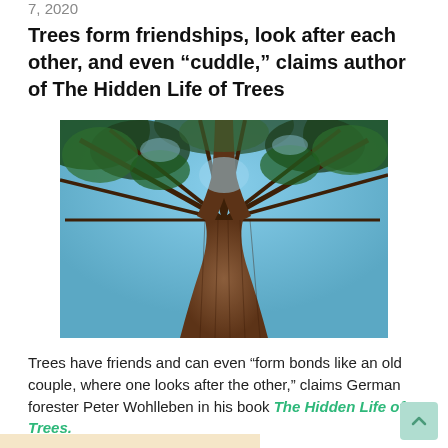7, 2020
Trees form friendships, look after each other, and even “cuddle,” claims author of The Hidden Life of Trees
[Figure (photo): Upward-looking photograph through the canopy of a tall redwood or sequoia tree, showing the bark-covered trunk splitting into branches against a blue sky with green foliage.]
Trees have friends and can even “form bonds like an old couple, where one looks after the other,” claims German forester Peter Wohlleben in his book The Hidden Life of Trees.